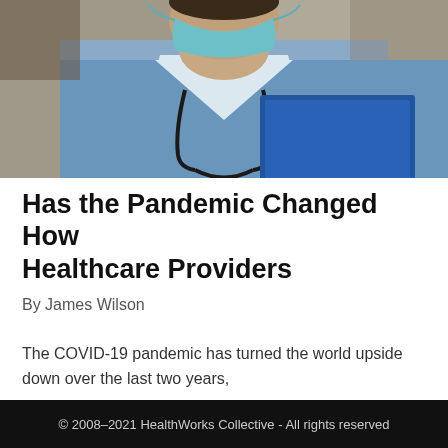[Figure (photo): A healthcare worker wearing blue scrubs and a surgical face mask, with a stethoscope around their neck, holding a blue clipboard or folder. The photo is cropped at the chest/neck level showing medical attire.]
Has the Pandemic Changed How Healthcare Providers
By James Wilson
The COVID-19 pandemic has turned the world upside down over the last two years,
© 2008–2021 HealthWorks Collective - All rights reserved